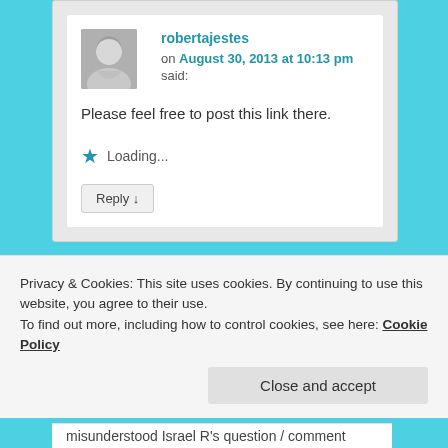robertajestes on August 30, 2013 at 10:13 pm said:
Please feel free to post this link there.
Loading...
Reply ↓
Privacy & Cookies: This site uses cookies. By continuing to use this website, you agree to their use.
To find out more, including how to control cookies, see here: Cookie Policy
Close and accept
misunderstood Israel R's question / comment